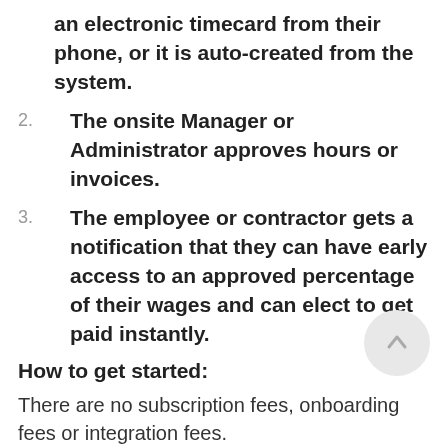an electronic timecard from their phone, or it is auto-created from the system.
2. The onsite Manager or Administrator approves hours or invoices.
3. The employee or contractor gets a notification that they can have early access to an approved percentage of their wages and can elect to get paid instantly.
How to get started:
There are no subscription fees, onboarding fees or integration fees. PAYMINT makes their money off the